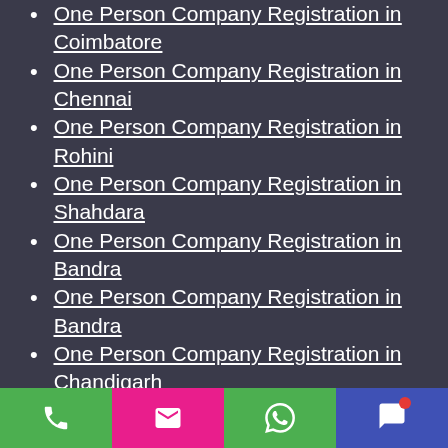One Person Company Registration in Coimbatore
One Person Company Registration in Chennai
One Person Company Registration in Rohini
One Person Company Registration in Shahdara
One Person Company Registration in Bandra
One Person Company Registration in Bandra
One Person Company Registration in Chandigarh
One Person Company Registration in Amritsar
One Person Company Registration in Bengaluru